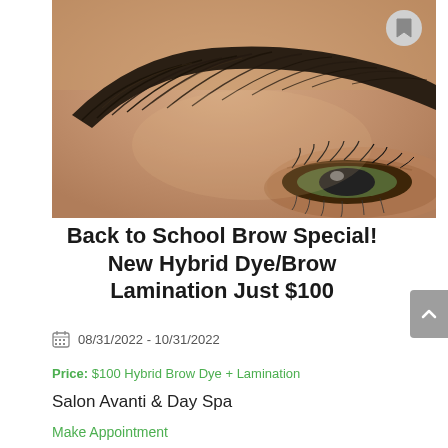[Figure (photo): Close-up photo of a perfectly groomed eyebrow with brow lamination, showing defined dark hairs swept upward, with eyelashes visible at the bottom right.]
Back to School Brow Special! New Hybrid Dye/Brow Lamination Just $100
08/31/2022 - 10/31/2022
Price: $100 Hybrid Brow Dye + Lamination
Salon Avanti & Day Spa
Make Appointment